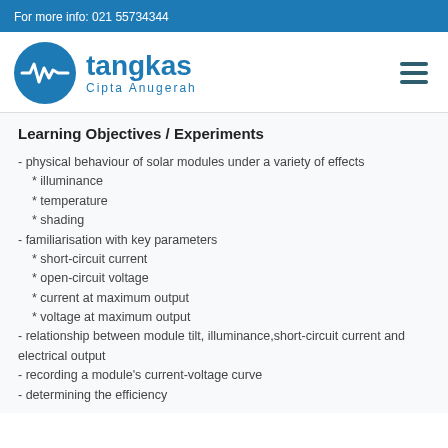For more info: 021 55734344
[Figure (logo): Tangkas Cipta Anugerah logo — blue circle with heartbeat/waveform symbol, company name 'tangkas' in bold blue, subtitle 'Cipta Anugerah']
Learning Objectives / Experiments
- physical behaviour of solar modules under a variety of effects
* illuminance
* temperature
* shading
- familiarisation with key parameters
* short-circuit current
* open-circuit voltage
* current at maximum output
* voltage at maximum output
- relationship between module tilt, illuminance,short-circuit current and electrical output
- recording a module's current-voltage curve
- determining the efficiency